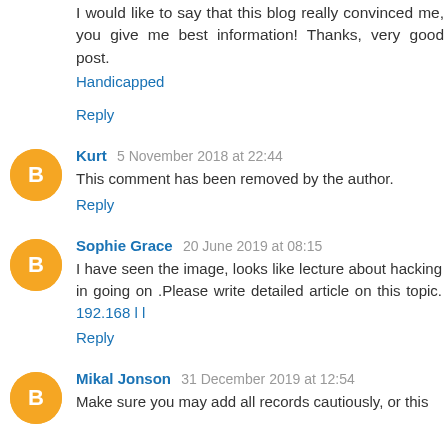I would like to say that this blog really convinced me, you give me best information! Thanks, very good post.
Handicapped
Reply
Kurt 5 November 2018 at 22:44
This comment has been removed by the author.
Reply
Sophie Grace 20 June 2019 at 08:15
I have seen the image, looks like lecture about hacking in going on .Please write detailed article on this topic. 192.168 l l
Reply
Mikal Jonson 31 December 2019 at 12:54
Make sure you may add all records cautiously, or this